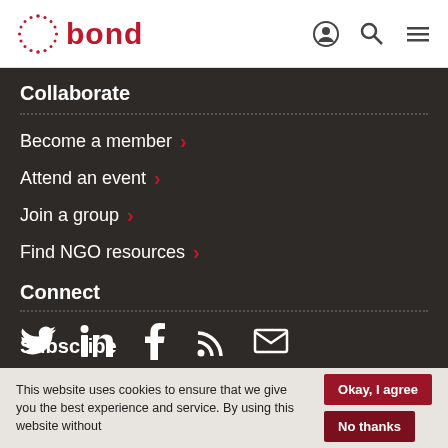bond [logo with navigation icons: user, search, menu]
Collaborate
Become a member >
Attend an event >
Join a group >
Find NGO resources >
Connect
[Figure (infographic): Social media icons: Twitter, LinkedIn, Facebook, RSS, Email]
Subscribe
This website uses cookies to ensure that we give you the best experience and service. By using this website without
Okay, I agree
No thanks